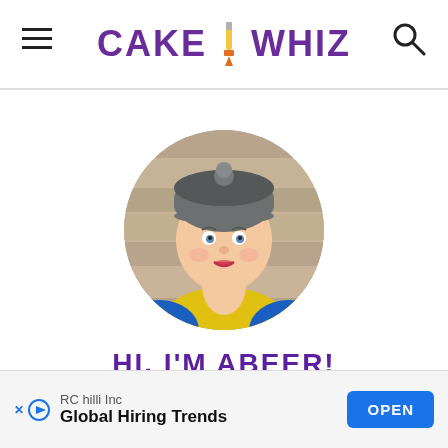CAKE WHIZ
[Figure (photo): Circular profile photo of Abeer, a woman wearing a grey beanie hat and yellow scarf with a blue jacket, against a wooden background.]
HI, I'M ABEER!
Recipe developer, Photographer, Mommy &
[Figure (other): Advertisement banner: RC hilli Inc - Global Hiring Trends - OPEN button]